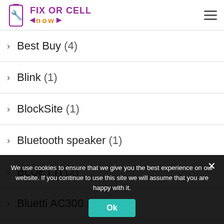Fix or Cell Now — website header with logo and hamburger menu
Best Buy (4)
Blink (1)
BlockSite (1)
Bluetooth speaker (1)
BLUETTI (2)
Bluetti AC300 (1)
We use cookies to ensure that we give you the best experience on our website. If you continue to use this site we will assume that you are happy with it.
Ok